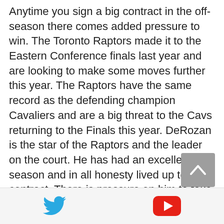Anytime you sign a big contract in the off-season there comes added pressure to win. The Toronto Raptors made it to the Eastern Conference finals last year and are looking to make some moves further this year. The Raptors have the same record as the defending champion Cavaliers and are a big threat to the Cavs returning to the Finals this year. DeRozan is the star of the Raptors and the leader on the court. He has had an excellent season and in all honesty lived up to his contract. There is pressure on him to take the Raptors to the Finals though. When you get so close, but fall short the
[Figure (other): Twitter bird icon (blue) and YouTube play button icon (red) in a light gray footer bar]